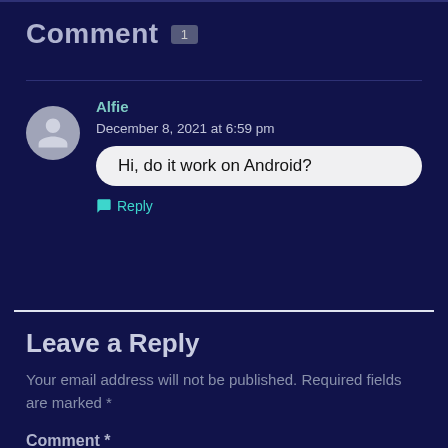Comment 1
Alfie
December 8, 2021 at 6:59 pm
Hi, do it work on Android?
Reply
Leave a Reply
Your email address will not be published. Required fields are marked *
Comment *